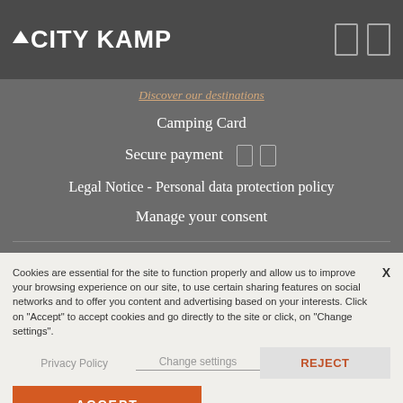CITY KAMP
Discover our destinations
Camping Card
Secure payment
Legal Notice - Personal data protection policy
Manage your consent
Cookies are essential for the site to function properly and allow us to improve your browsing experience on our site, to use certain sharing features on social networks and to offer you content and advertising based on your interests. Click on "Accept" to accept cookies and go directly to the site or click, on "Change settings".
Privacy Policy
Change settings
REJECT
ACCEPT